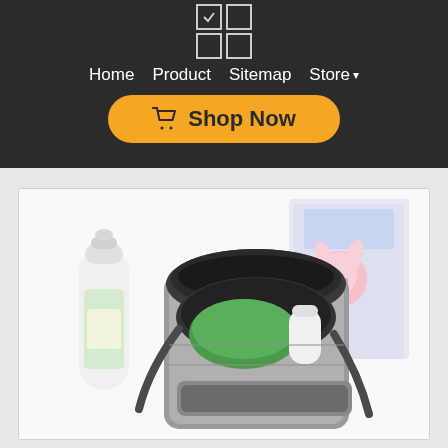[Figure (logo): Grid of four checkbox icons — top-left checked, others unchecked]
Home   Product   Sitemap   Store ▾
[Figure (other): Yellow rounded button with shopping cart icon and text 'Shop Now']
[Figure (photo): Product photo of an open grey stroller/pram organizer bag filled with baby items including a feeding bottle, green container, phone, and surrounded by baby wipes, a toy, and other products]